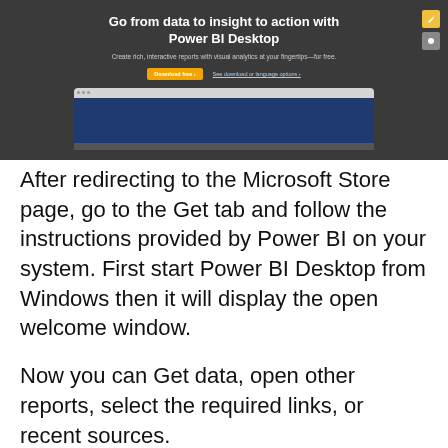[Figure (screenshot): Screenshot of the Power BI Desktop download page on the Microsoft website, showing the heading 'Go from data to insight to action with Power BI Desktop', a subtitle, a yellow Download free button, a 'See download or language options' link, and a laptop mockup showing the Power BI Desktop application interface.]
After redirecting to the Microsoft Store page, go to the Get tab and follow the instructions provided by Power BI on your system. First start Power BI Desktop from Windows then it will display the open welcome window.
Now you can Get data, open other reports, select the required links, or recent sources.
Now select the close icon and close the Welcome screen.